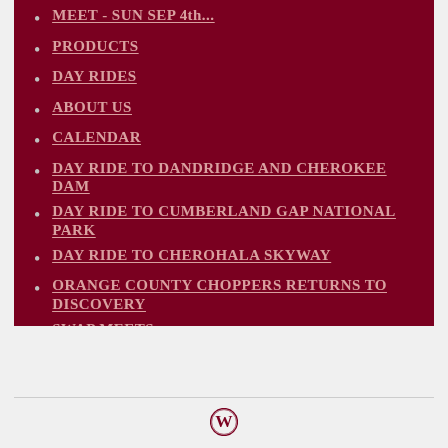MEET - SUN SEP 4th...
PRODUCTS
DAY RIDES
ABOUT US
CALENDAR
DAY RIDE TO DANDRIDGE AND CHEROKEE DAM
DAY RIDE TO CUMBERLAND GAP NATIONAL PARK
DAY RIDE TO CHEROHALA SKYWAY
ORANGE COUNTY CHOPPERS RETURNS TO DISCOVERY
SWAP MEETS
WordPress logo